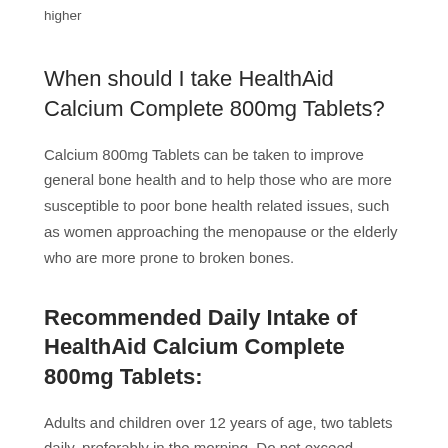higher
When should I take HealthAid Calcium Complete 800mg Tablets?
Calcium 800mg Tablets can be taken to improve general bone health and to help those who are more susceptible to poor bone health related issues, such as women approaching the menopause or the elderly who are more prone to broken bones.
Recommended Daily Intake of HealthAid Calcium Complete 800mg Tablets:
Adults and children over 12 years of age, two tablets daily, preferably in the morning. Do not exceed recommended daily intake unless advised by a suitably qualified person.